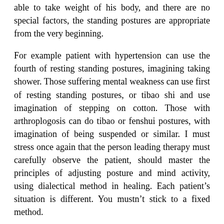able to take weight of his body, and there are no special factors, the standing postures are appropriate from the very beginning.
For example patient with hypertension can use the fourth of resting standing postures, imagining taking shower. Those suffering mental weakness can use first of resting standing postures, or tibao shi and use imagination of stepping on cotton. Those with arthroplogosis can do tibao or fenshui postures, with imagination of being suspended or similar. I must stress once again that the person leading therapy must carefully observe the patient, should master the principles of adjusting posture and mind activity, using dialectical method in healing. Each patient's situation is different. You mustn't stick to a fixed method.
POINTS FOR ATTENTION
Patient should deject before practice. Collar and belt should be loosened. When starting exercise patient can lean head slightly backward, raise arms. Body can slightly...